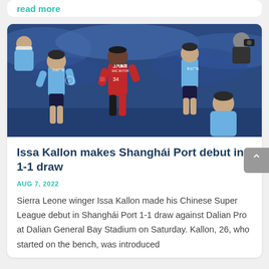read more
[Figure (photo): Soccer match photo showing Issa Kallon in a red Shanghai Port jersey (number 34, SAIC Motor sponsor) dribbling between two Dalian Pro players in light blue jerseys, with a blue stadium crowd in the background.]
Issa Kallon makes Shanghái Port debut in 1-1 draw
AUG 7, 2022
Sierra Leone winger Issa Kallon made his Chinese Super League debut in Shanghái Port 1-1 draw against Dalian Pro at Dalian General Bay Stadium on Saturday. Kallon, 26, who started on the bench, was introduced